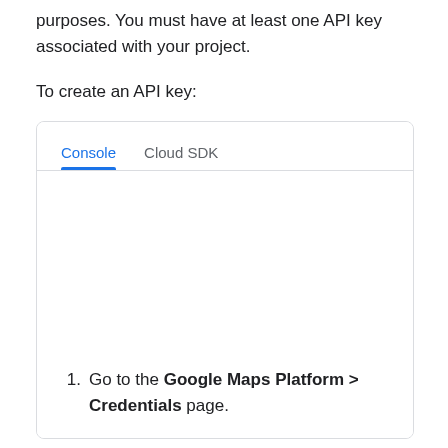purposes. You must have at least one API key associated with your project.
To create an API key:
[Figure (screenshot): Tab interface with 'Console' (active, underlined in blue) and 'Cloud SDK' tabs inside a rounded rectangle box.]
1. Go to the Google Maps Platform > Credentials page.